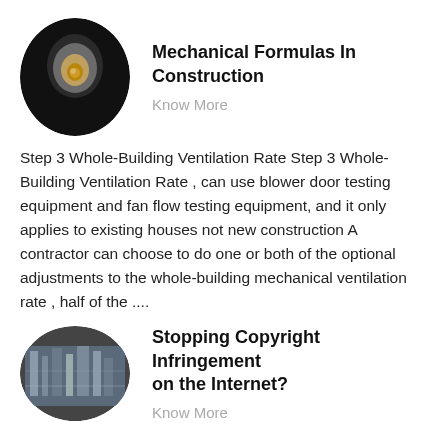[Figure (photo): Oval-cropped photo of a mechanical pipe fitting or valve component on a dark background]
Mechanical Formulas In Construction
Know More
Step 3 Whole-Building Ventilation Rate Step 3 Whole-Building Ventilation Rate , can use blower door testing equipment and fan flow testing equipment, and it only applies to existing houses not new construction A contractor can choose to do one or both of the optional adjustments to the whole-building mechanical ventilation rate , half of the ....
[Figure (photo): Oval-cropped photo of an industrial factory or manufacturing plant interior]
Stopping Copyright Infringement on the Internet?
Know More